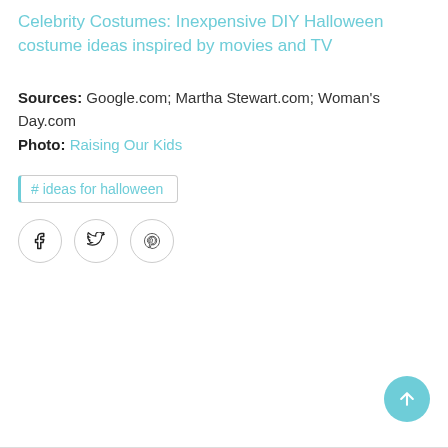Celebrity Costumes: Inexpensive DIY Halloween costume ideas inspired by movies and TV
Sources: Google.com; Martha Stewart.com; Woman's Day.com
Photo: Raising Our Kids
# ideas for halloween
[Figure (other): Social share buttons: Facebook, Twitter, Pinterest circles]
[Figure (other): Back to top button (teal circle with up arrow)]